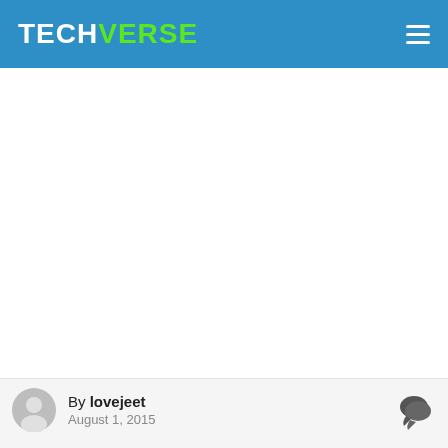TECHVERSE
[Figure (other): Large blank white content area (advertisement or image placeholder)]
By lovejeet
August 1, 2015